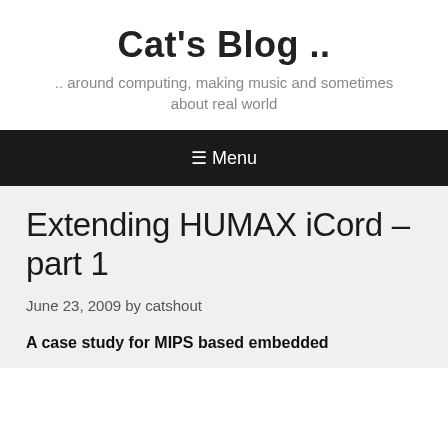Cat's Blog ..
.. around computing, making music and sometimes about real world
☰ Menu
Extending HUMAX iCord – part 1
June 23, 2009 by catshout
A case study for MIPS based embedded